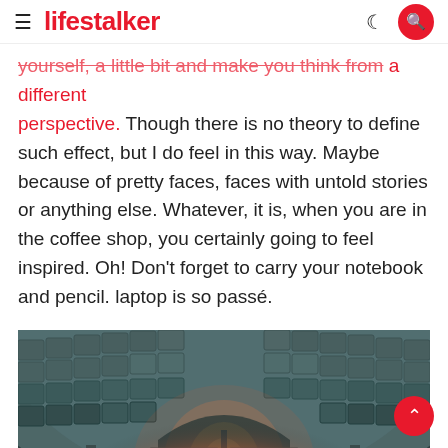lifestalker
yourself, a little bit and make you think from a different perspective. Though there is no theory to define such effect, but I do feel in this way. Maybe because of pretty faces, faces with untold stories or anything else. Whatever, it is, when you are in the coffee shop, you certainly going to feel inspired. Oh! Don't forget to carry your notebook and pencil. laptop is so passé.
[Figure (photo): Interior of a metro/subway station with coffered barrel vault ceiling, lit by light at the end of the tunnel. Two orange LED departure boards visible. Teal/vintage color grade filter applied.]